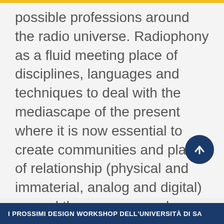possible professions around the radio universe. Radiophony as a fluid meeting place of disciplines, languages and techniques to deal with the mediascape of the present where it is now essential to create communities and places of relationship (physical and immaterial, analog and digital) around the common work.
In the historical moment in which radio is moving more and more towards digital, frequencies that can be used for non-
I PROSSIMI DESIGN WORKSHOP DELL'UNIVERSITÀ DI SA